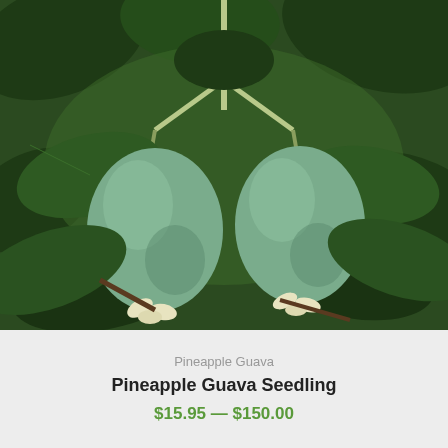[Figure (photo): Close-up photograph of two green Pineapple Guava (feijoa) fruits hanging from a branch surrounded by dark green leaves. The fruits are oval-shaped, blue-green in color with small white floral remnants at the base.]
Pineapple Guava
Pineapple Guava Seedling
$15.95 — $150.00